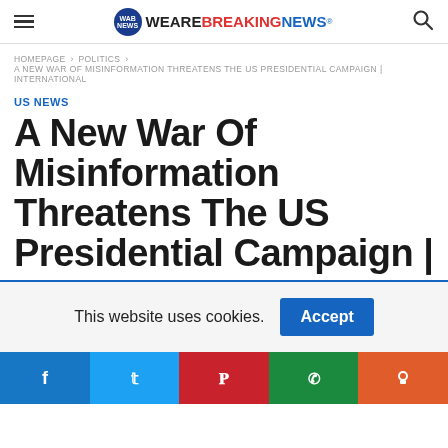We Are Breaking News
HOMEPAGE > POLITICS > A NEW WAR OF MISINFORMATION THREATENS THE US PRESIDENTIAL CAMPAIGN | INTERNATIONAL
US NEWS
A New War Of Misinformation Threatens The US Presidential Campaign |
This website uses cookies. Accept
[Figure (infographic): Social share buttons: Facebook, Twitter, Pinterest, WhatsApp, Reddit]